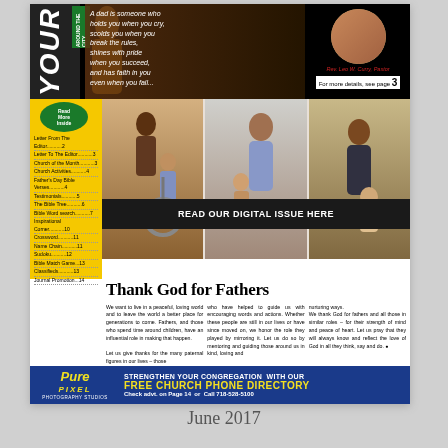[Figure (photo): Newspaper front page top banner with publication title 'YOUR' and 'AROUND THE CITY', inspirational quote about dads, and photo of Rev. Leo W. Curry, Pastor with note to see page 3]
A dad is someone who holds you when you cry, scolds you when you break the rules, shines with pride when you succeed, and has faith in you even when you fail...
Rev. Leo W. Curry, Pastor
For more details, see page 3
[Figure (photo): Three photos of fathers with children: father helping child learn to ride a bike, father comforting child, father holding infant]
Letter From The Editor...........2
Letter To The Editor...........3
Church of the Month...........3
Church Activities...........4
Father's Day Bible Verses...........4
Testimonials...........5
The Bible Tree...........6
Bible Word search...........7
Inspirational Corner...........10
Crossword...........11
Name Chain...........11
Sudoku...........12
Bible Match Game...13
Classifieds...........13
Journal Promotion...14
[Figure (photo): Black banner reading READ OUR DIGITAL ISSUE HERE]
Thank God for Fathers
We want to live in a peaceful, loving world and to leave the world a better place for generations to come. Fathers, and those who spend time around children, have an influential role in making that happen.
Let us give thanks for the many paternal figures in our lives – those who have helped to guide us with encouraging words and actions. Whether these people are still in our lives or have since moved on, we honor the role they played by mirroring it. Let us do so by mentoring and guiding those around us in kind, loving and nurturing ways.
We thank God for fathers and all those in similar roles – for their strength of mind and peace of heart. Let us pray that they will always know and reflect the love of God in all they think, say and do.
[Figure (photo): Pure Pixel Photography Studios advertisement - STRENGTHEN YOUR CONGREGATION WITH OUR FREE CHURCH PHONE DIRECTORY - Check advt. on Page 14 or Call 718-528-5100]
June 2017